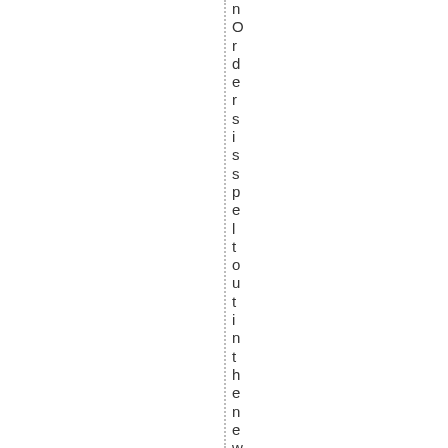nOrdersisspeltoutintheNewissue